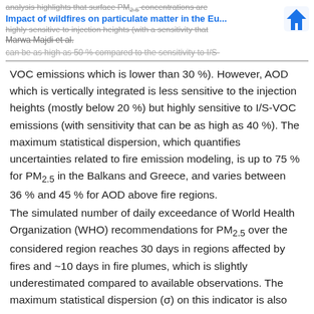analysis highlights that surface PM2.5 concentrations are
Impact of wildfires on particulate matter in the Eu...
highly sensitive to injection heights (with a sensitivity that
Marwa Majdi et al.
can be as high as 50 % compared to the sensitivity to I/S-
VOC emissions which is lower than 30 %). However, AOD which is vertically integrated is less sensitive to the injection heights (mostly below 20 %) but highly sensitive to I/S-VOC emissions (with sensitivity that can be as high as 40 %). The maximum statistical dispersion, which quantifies uncertainties related to fire emission modeling, is up to 75 % for PM2.5 in the Balkans and Greece, and varies between 36 % and 45 % for AOD above fire regions.
The simulated number of daily exceedance of World Health Organization (WHO) recommendations for PM2.5 over the considered region reaches 30 days in regions affected by fires and ~10 days in fire plumes, which is slightly underestimated compared to available observations. The maximum statistical dispersion (σ) on this indicator is also